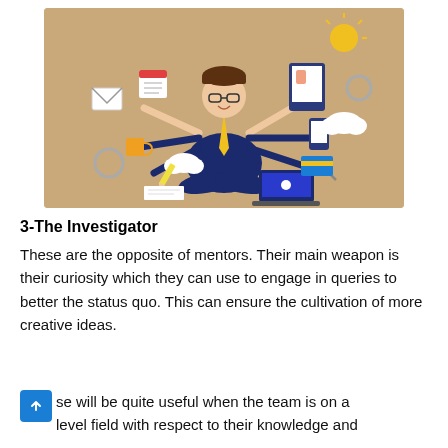[Figure (illustration): Cartoon illustration of a multi-armed business person in a suit sitting cross-legged in a meditative pose, holding various work items: calendar, email envelope, coffee mug, pencil, tablet, smartphone, credit card, and laptop. Background is tan/brown.]
3-The Investigator
These are the opposite of mentors. Their main weapon is their curiosity which they can use to engage in queries to better the status quo. This can ensure the cultivation of more creative ideas.
se will be quite useful when the team is on a level field with respect to their knowledge and